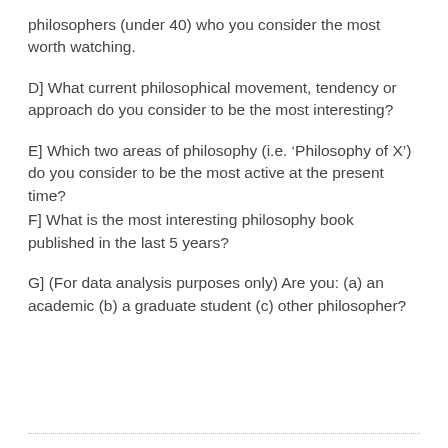philosophers (under 40) who you consider the most worth watching.
D] What current philosophical movement, tendency or approach do you consider to be the most interesting?
E] Which two areas of philosophy (i.e. ‘Philosophy of X’) do you consider to be the most active at the present time?
F] What is the most interesting philosophy book published in the last 5 years?
G] (For data analysis purposes only) Are you: (a) an academic (b) a graduate student (c) other philosopher?